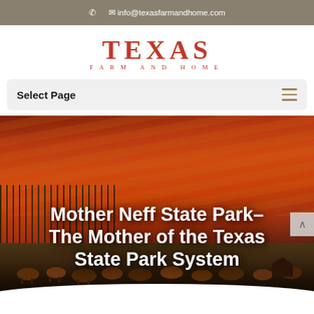info@texasfarmandhome.com
TEXAS FARM AND HOME
Select Page
[Figure (photo): Hero image of a Texas farm scene with cattle grazing in a field under a dramatic orange sunset sky with vineyard rows visible in the background. White bold text overlay reads: Mother Neff State Park–The Mother of the Texas State Park System]
Mother Neff State Park–The Mother of the Texas State Park System